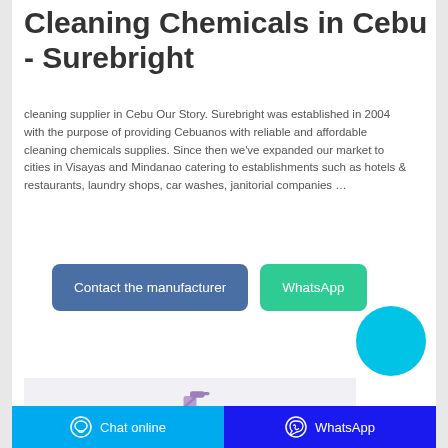Cleaning Chemicals in Cebu - Surebright
cleaning supplier in Cebu Our Story. Surebright was established in 2004 with the purpose of providing Cebuanos with reliable and affordable cleaning chemicals supplies. Since then we've expanded our market to cities in Visayas and Mindanao catering to establishments such as hotels & restaurants, laundry shops, car washes, janitorial companies …
[Figure (other): Button: Contact the manufacturer (dark blue rounded rectangle)]
[Figure (other): Button: WhatsApp (green rounded rectangle)]
[Figure (other): Cyan circular chat button icon]
[Figure (photo): Product image showing a purple spray bottle on a light background]
Chat online | WhatsApp